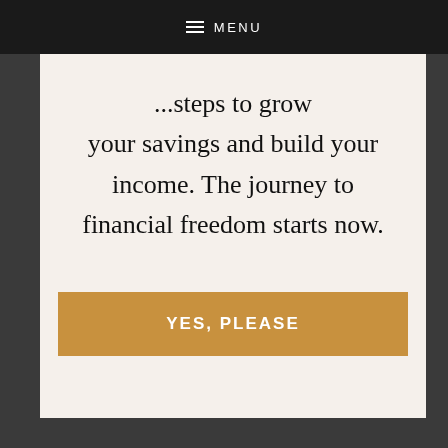☰ MENU
your savings and build your income. The journey to financial freedom starts now.
YES, PLEASE